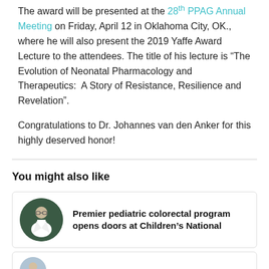The award will be presented at the 28th PPAG Annual Meeting on Friday, April 12 in Oklahoma City, OK., where he will also present the 2019 Yaffe Award Lecture to the attendees. The title of his lecture is “The Evolution of Neonatal Pharmacology and Therapeutics:  A Story of Resistance, Resilience and Revelation”.
Congratulations to Dr. Johannes van den Anker for this highly deserved honor!
You might also like
Premier pediatric colorectal program opens doors at Children’s National